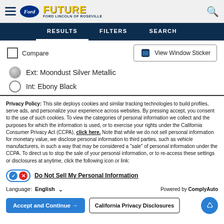Future Ford Lincoln of Roseville
RESULTS   FILTERS   SEARCH
Compare
View Window Sticker
Ext: Moondust Silver Metallic
Int: Ebony Black
Privacy Policy: This site deploys cookies and similar tracking technologies to build profiles, serve ads, and personalize your experience across websites. By pressing accept, you consent to the use of such cookies. To view the categories of personal information we collect and the purposes for which the information is used, or to exercise your rights under the California Consumer Privacy Act (CCPA), click here. Note that while we do not sell personal information for monetary value, we disclose personal information to third parties, such as vehicle manufacturers, in such a way that may be considered a "sale" of personal information under the CCPA. To direct us to stop the sale of your personal information, or to re-access these settings or disclosures at anytime, click the following icon or link:
Do Not Sell My Personal Information
Language: English   ∨   Powered by ComplyAuto
Accept and Continue →   California Privacy Disclosures